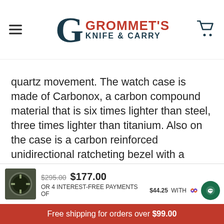Grommet's Knife & Carry
quartz movement. The watch case is made of Carbonox, a carbon compound material that is six times lighter than steel, three times lighter than titanium. Also on the case is a carbon reinforced unidirectional ratcheting bezel with a Super-LumiNova dot at 12 o'clock.
From the Luminox Sea Turtle collection, this men's watch features a black dial with date display at the three o'clock hour in a 44.0mm black carbon case and a carbon reinforced PC uni-directional ratcheting bezel with Super-LumiNova dot at 12 o'clock. Swiss quartz
$295.00  $177.00
OR 4 INTEREST-FREE PAYMENTS OF $44.25 WITH sezzle
Free shipping for orders over $99.00